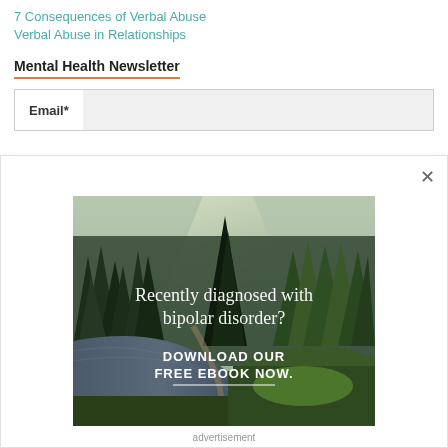7 Consequences of Verbal Abuse
Verbal Abuse in Relationships
Mental Health Newsletter
Email*
[Figure (photo): Forest scene with river and pine trees, overlaid with text: 'Recently diagnosed with bipolar disorder? DOWNLOAD OUR FREE EBOOK NOW.']
advertisement